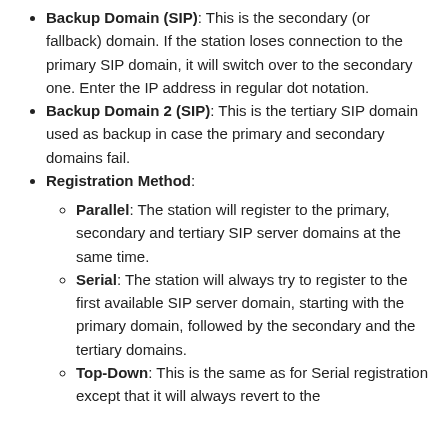Backup Domain (SIP): This is the secondary (or fallback) domain. If the station loses connection to the primary SIP domain, it will switch over to the secondary one. Enter the IP address in regular dot notation.
Backup Domain 2 (SIP): This is the tertiary SIP domain used as backup in case the primary and secondary domains fail.
Registration Method:
Parallel: The station will register to the primary, secondary and tertiary SIP server domains at the same time.
Serial: The station will always try to register to the first available SIP server domain, starting with the primary domain, followed by the secondary and the tertiary domains.
Top-Down: This is the same as for Serial registration except that it will always revert to the